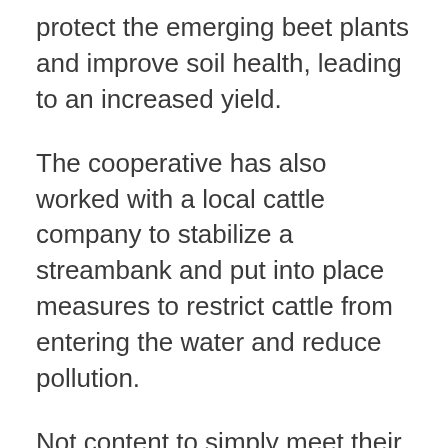protect the emerging beet plants and improve soil health, leading to an increased yield.
The cooperative has also worked with a local cattle company to stabilize a streambank and put into place measures to restrict cattle from entering the water and reduce pollution.
Not content to simply meet their goals, SMBSC has remained well below the phosphorus release limit established by their permit while exceeding their stated phosphorus reduction commitment.